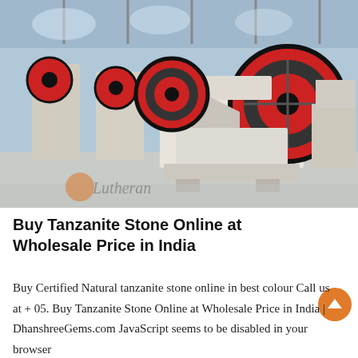[Figure (photo): Industrial jaw crusher machines with large red and black flywheels, white body, arranged in a factory/warehouse setting with grey concrete floor and steel structure ceiling. Watermark text 'Lutheran' with an orange circular logo on the bottom left.]
Buy Tanzanite Stone Online at Wholesale Price in India
Buy Certified Natural tanzanite stone online in best colour Call us at + 05. Buy Tanzanite Stone Online at Wholesale Price in India | DhanshreeGems.com JavaScript seems to be disabled in your browser